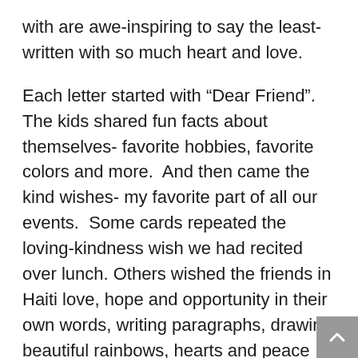with are awe-inspiring to say the least- written with so much heart and love.
Each letter started with “Dear Friend”.  The kids shared fun facts about themselves- favorite hobbies, favorite colors and more.  And then came the kind wishes- my favorite part of all our events.  Some cards repeated the loving-kindness wish we had recited over lunch. Others wished the friends in Haiti love, hope and opportunity in their own words, writing paragraphs, drawing beautiful rainbows, hearts and peace signs.  Many students spent the entire recess on this activity.  Some of us bigs were moved to tears just watching the whole experience unfold.